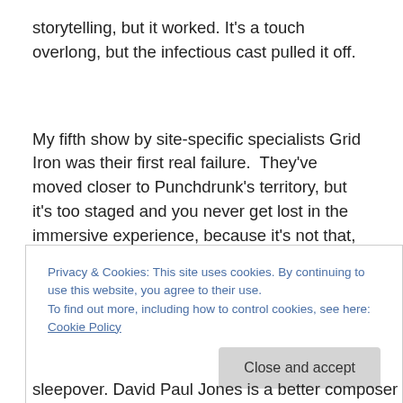storytelling, but it worked. It's a touch overlong, but the infectious cast pulled it off.
My fifth show by site-specific specialists Grid Iron was their first real failure.  They've moved closer to Punchdrunk's territory, but it's too staged and you never get lost in the immersive experience, because it's not that, well.  immersive. In What Remains?** ,we're exploring
Privacy & Cookies: This site uses cookies. By continuing to use this website, you agree to their use.
To find out more, including how to control cookies, see here: Cookie Policy
sleepover. David Paul Jones is a better composer and